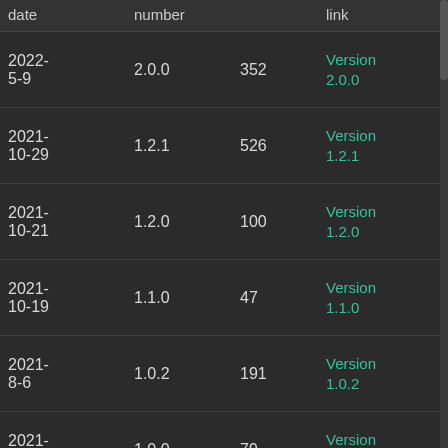| date | number |  | link |  |
| --- | --- | --- | --- | --- |
| 2022-5-9 | 2.0.0 | 352 | Version 2.0.0 | Install |
| 2021-10-29 | 1.2.1 | 526 | Version 1.2.1 | Install |
| 2021-10-21 | 1.2.0 | 100 | Version 1.2.0 | Install |
| 2021-10-19 | 1.1.0 | 47 | Version 1.1.0 | Install |
| 2021-8-6 | 1.0.2 | 191 | Version 1.0.2 | Install |
| 2021-7-29 | 1.0.0 | 79 | Version 1.0.0 | Install |